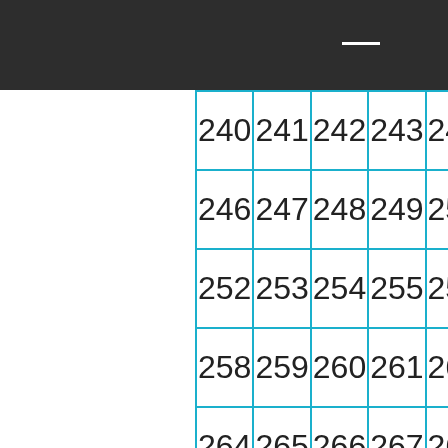| 240 | 241 | 242 | 243 | 244 | 245 |
| 246 | 247 | 248 | 249 | 250 | 251 |
| 252 | 253 | 254 | 255 | 256 | 257 |
| 258 | 259 | 260 | 261 | 262 | 263 |
| 264 | 265 | 266 | 267 | 268 | 269 |
We use cookies on our website to give you the most relevant experience by remembering your preferences and repeat visits. By clicking “Accept”, you consent to the use of ALL the cookies.
Do not sell my personal information.
Cookie Settings
Accept